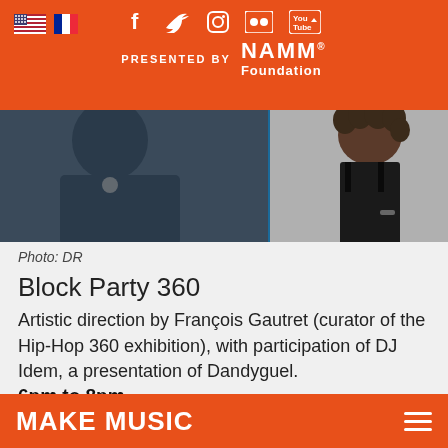PRESENTED BY NAMM Foundation — social icons: Facebook, Twitter, Instagram, Flickr, YouTube — flags: US, France
[Figure (photo): Photo strip showing two people: a man on the left wearing a necklace and a woman on the right with curly hair wearing a black top]
Photo: DR
Block Party 360
Artistic direction by François Gautret (curator of the Hip-Hop 360 exhibition), with participation of DJ Idem, a presentation of Dandyguel.
6pm to 8pm
introduction to hip-hop dance (kids and adults) with Loïc from Légendes Urbaines and Gloria
MAKE MUSIC